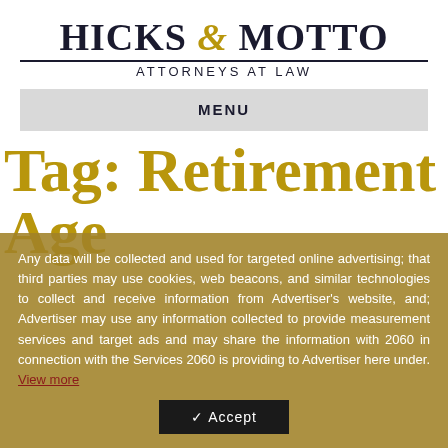HICKS & MOTTO ATTORNEYS AT LAW
MENU
Tag: Retirement Age
Any data will be collected and used for targeted online advertising; that third parties may use cookies, web beacons, and similar technologies to collect and receive information from Advertiser's website, and; Advertiser may use any information collected to provide measurement services and target ads and may share the information with 2060 in connection with the Services 2060 is providing to Advertiser here under. View more
✓ Accept